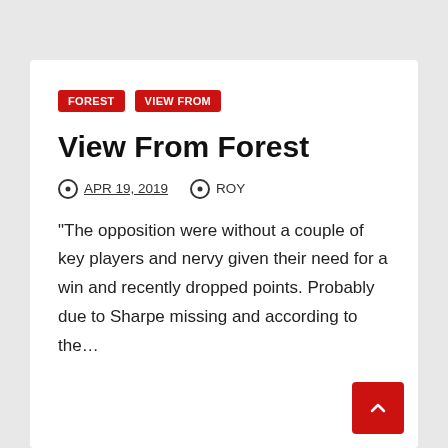FOREST
VIEW FROM
View From Forest
APR 19, 2019   ROY
“The opposition were without a couple of key players and nervy given their need for a win and recently dropped points. Probably due to Sharpe missing and according to the…